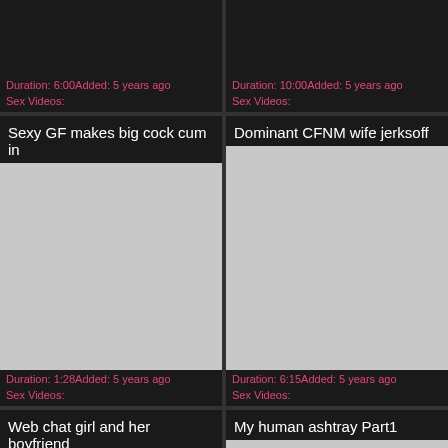Duration: 6:00Added: 5 years ago
Sex Videos:
Duration: 10:00Added: 5 years ago
Sex Videos:
Sexy GF makes big cock cum in
Dominant CFNM wife jerksoff
[Figure (photo): Video thumbnail placeholder - gray rectangle]
[Figure (photo): Video thumbnail placeholder - gray rectangle]
Duration: 1:28Added: 5 years ago
Sex Videos:
Duration: 6:15Added: 5 years ago
Sex Videos:
Web chat girl and her boyfriend
My human ashtray Part1
[Figure (photo): Video thumbnail placeholder - gray rectangle]
[Figure (photo): Video thumbnail placeholder - gray rectangle]